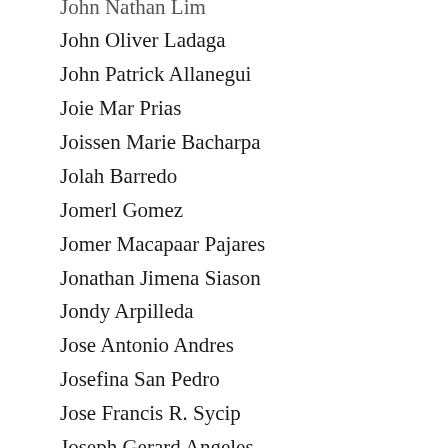John Nathan Lim
John Oliver Ladaga
John Patrick Allanegui
Joie Mar Prias
Joissen Marie Bacharpa
Jolah Barredo
Jomerl Gomez
Jomer Macapaar Pajares
Jonathan Jimena Siason
Jondy Arpilleda
Jose Antonio Andres
Josefina San Pedro
Jose Francis R. Sycip
Joseph Gerard Angeles
Joseph Mendoza
Joseph Yzrael Agra
Jose Ramos
Josh Isaiah Villafuerte